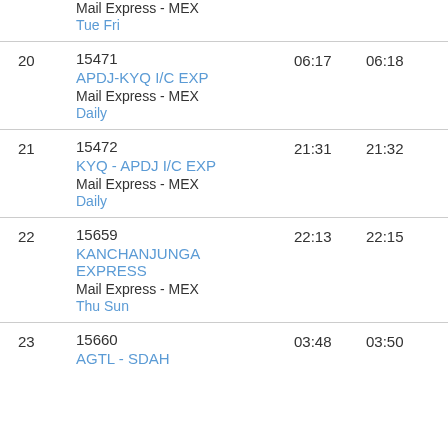| # | Train | Arrival | Departure |
| --- | --- | --- | --- |
|  | Mail Express - MEX
Tue Fri |  |  |
| 20 | 15471
APDJ-KYQ I/C EXP
Mail Express - MEX
Daily | 06:17 | 06:18 |
| 21 | 15472
KYQ - APDJ I/C EXP
Mail Express - MEX
Daily | 21:31 | 21:32 |
| 22 | 15659
KANCHANJUNGA EXPRESS
Mail Express - MEX
Thu Sun | 22:13 | 22:15 |
| 23 | 15660
AGTL - SDAH | 03:48 | 03:50 |